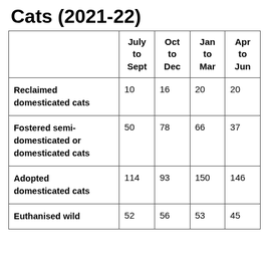Cats (2021-22)
|  | July to Sept | Oct to Dec | Jan to Mar | Apr to Jun |
| --- | --- | --- | --- | --- |
| Reclaimed domesticated cats | 10 | 16 | 20 | 20 |
| Fostered semi-domesticated or domesticated cats | 50 | 78 | 66 | 37 |
| Adopted domesticated cats | 114 | 93 | 150 | 146 |
| Euthanised wild | 52 | 56 | 53 | 45 |